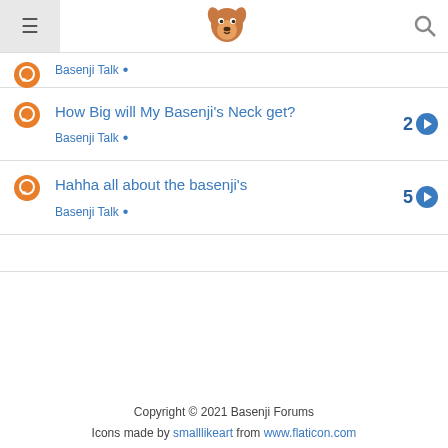Basenji Forums — navigation bar with menu, logo, and search
Basenji Talk •
How Big will My Basenji's Neck get? — Basenji Talk • — 2
Hahha all about the basenji's — Basenji Talk • — 5
Copyright © 2021 Basenji Forums
Icons made by smalllikeart from www.flaticon.com